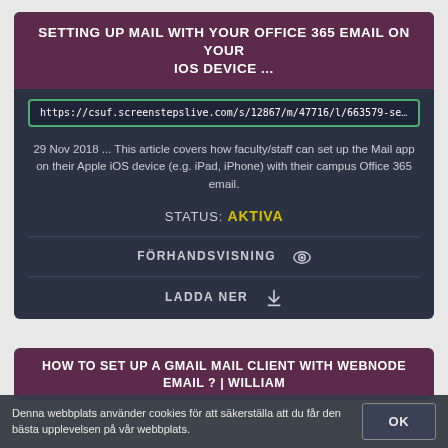SETTING UP MAIL WITH YOUR OFFICE 365 EMAIL ON YOUR IOS DEVICE ...
https://csuf.screenstepslive.com/s/12867/m/47716/l/663579-setting-up-ma
29 Nov 2018 ... This article covers how faculty/staff can set up the Mail app on their Apple iOS device (e.g. iPad, iPhone) with their campus Office 365 email.
STATUS: AKTIVA
FÖRHANDSVISNING
LADDA NER
HOW TO SET UP A GMAIL MAIL CLIENT WITH WEBNODE EMAIL ? | WILLIAM
Denna webbplats använder cookies för att säkerställa att du får den bästa upplevelsen på vår webbplats.